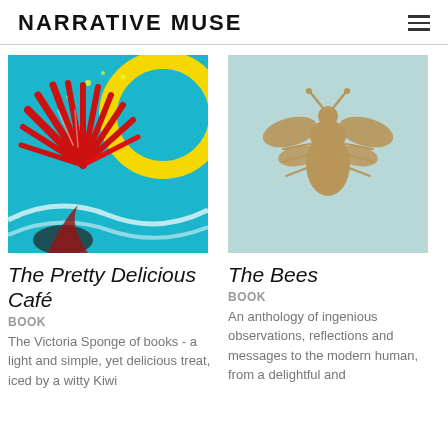NARRATIVE MUSE
[Figure (illustration): Colorful illustration of a red tropical flower/plant with yellow crescent moon shapes on a bright teal/blue background - book cover for The Pretty Delicious Café]
The Pretty Delicious Café
BOOK
The Victoria Sponge of books - a light and simple, yet delicious treat, iced by a witty Kiwi
[Figure (illustration): Light teal/mint colored book cover with a large golden/tan bee silhouette centered on the cover - book cover for The Bees]
The Bees
BOOK
An anthology of ingenious observations, reflections and messages to the modern human, from a delightful and